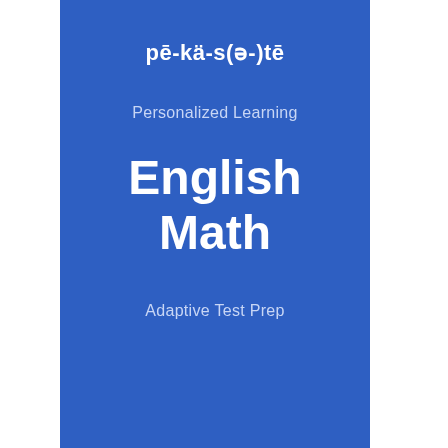pē-kä-s(ə-)tē
Personalized Learning
English
Math
Adaptive Test Prep